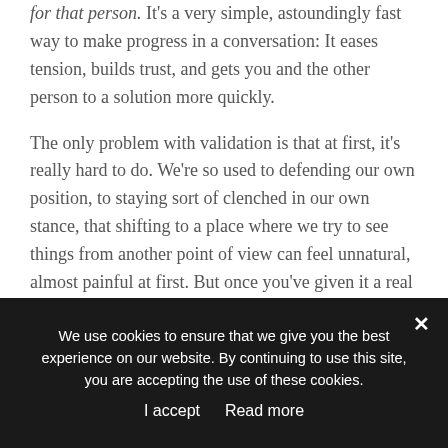for that person. It's a very simple, astoundingly fast way to make progress in a conversation: It eases tension, builds trust, and gets you and the other person to a solution more quickly.
The only problem with validation is that at first, it's really hard to do. We're so used to defending our own position, to staying sort of clenched in our own stance, that shifting to a place where we try to see things from another point of view can feel unnatural, almost painful at first. But once you've given it a real try, you're going to see some of your most difficult conversations get a
We use cookies to ensure that we give you the best experience on our website. By continuing to use this site, you are accepting the use of these cookies.
I accept  Read more